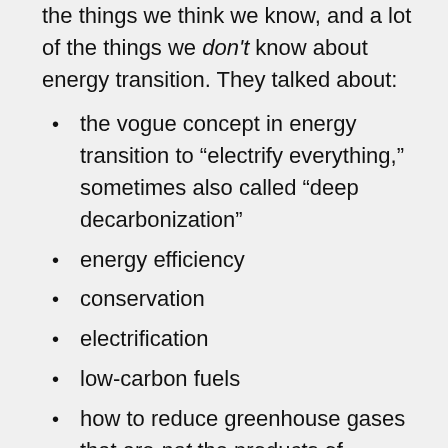the things we think we know, and a lot of the things we don't know about energy transition. They talked about:
the vogue concept in energy transition to “electrify everything,” sometimes also called “deep decarbonization”
energy efficiency
conservation
electrification
low-carbon fuels
how to reduce greenhouse gases that are not the products of combustion
the fast-changing trends in electric vehicles, and how we’re